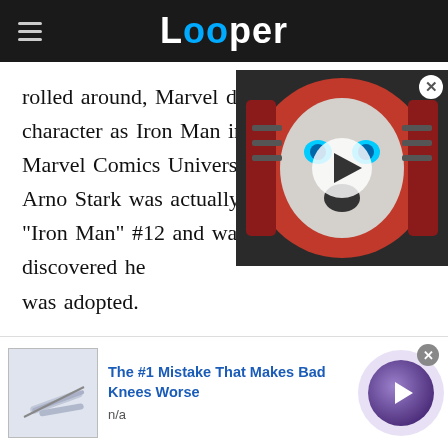Looper
rolled around, Marvel decided to introduce a new character as Iron Man into Earth-616 and the Marvel Comics Universe. This character, Arno Stark was actually introduced in "Iron Man" #12 and was 17 when Tony discovered he was adopted.
[Figure (screenshot): Video thumbnail showing a robot/android face with blue eyes and open mouth, in red metallic helmet, with a play button overlay]
[Figure (infographic): Advertisement banner: 'The #1 Mistake That Makes Bad Knees Worse', source n/a, with product image and navigation arrow button]